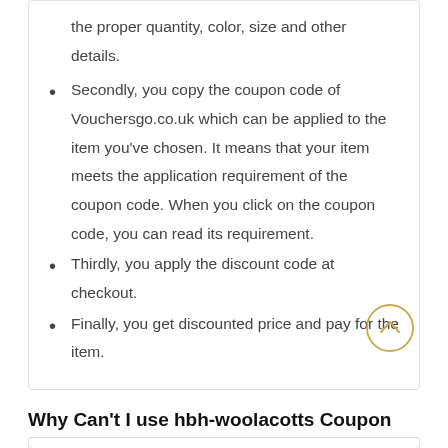the proper quantity, color, size and other details.
Secondly, you copy the coupon code of Vouchersgo.co.uk which can be applied to the item you've chosen. It means that your item meets the application requirement of the coupon code. When you click on the coupon code, you can read its requirement.
Thirdly, you apply the discount code at checkout.
Finally, you get discounted price and pay for the item.
Why Can't I use hbh-woolacotts Coupon Codes?